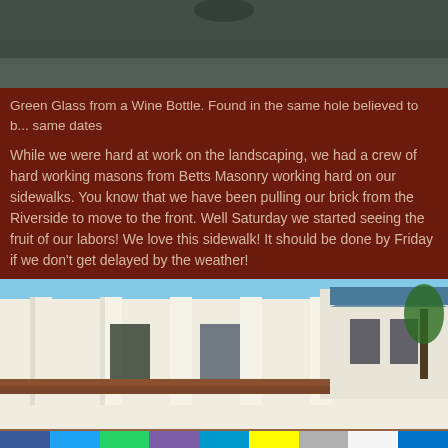[Figure (photo): Top portion of a photo, dark greenish background, partial view of an object]
Green Glass from a Wine Bottle. Found in the same hole believed to b... same dates
While we were hard at work on the landscaping, we had a crew of hard working masons from Betts Masonry working hard on our sidewalks. You know that we have been pulling our brick from the Riverside to move to the front. Well Saturday we started seeing the fruit of our labors! We love this sidewalk! It should be done by Friday if we don't get delayed by the weather!
[Figure (photo): White historic building with tall columns and a blue metal roof, workers visible in foreground working on brick sidewalk]
[Figure (infographic): Social media share bar with icons for Facebook, Twitter, WhatsApp, Phone, SMS, Snapchat, Email, Gmail, Outlook]